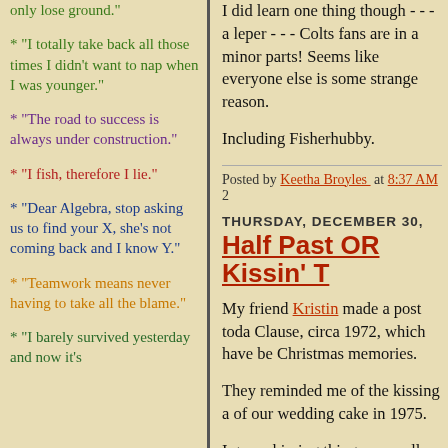only lose ground."
* "I totally take back all those times I didn't want to nap when I was younger."
* "The road to success is always under construction."
* "I fish, therefore I lie."
* "Dear Algebra, stop asking us to find your X, she's not coming back and I know Y."
* "Teamwork means never having to take all the blame."
* "I barely survived yesterday and now it's
I did learn one thing though - - - a leper - - - Colts fans are in a minor parts! Seems like everyone else is some strange reason.
Including Fisherhubby.
Posted by Keetha Broyles  at 8:37 AM  2
THURSDAY, DECEMBER 30,
Half Past OR Kissin' T
My friend Kristin made a post toda Clause, circa 1972, which have be Christmas memories.
They reminded me of the kissing a of our wedding cake in 1975.
I guess kissing things were all the